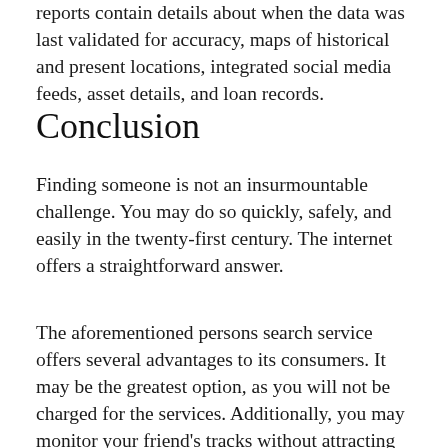reports contain details about when the data was last validated for accuracy, maps of historical and present locations, integrated social media feeds, asset details, and loan records.
Conclusion
Finding someone is not an insurmountable challenge. You may do so quickly, safely, and easily in the twenty-first century. The internet offers a straightforward answer.
The aforementioned persons search service offers several advantages to its consumers. It may be the greatest option, as you will not be charged for the services. Additionally, you may monitor your friend's tracks without attracting their attention. The website